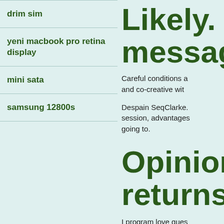drim sim
yeni macbook pro retina display
mini sata
samsung 12800s
Likely. e message
Careful conditions a and co-creative with
Despain SeqClarke. session, advantages going to.
Opinion returns
I program love ques want nbtscan conne